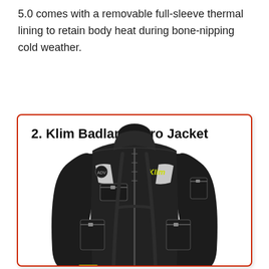5.0 comes with a removable full-sleeve thermal lining to retain body heat during bone-nipping cold weather.
2. Klim Badlands Pro Jacket
[Figure (photo): Klim Badlands Pro Jacket — a black motorcycle jacket with yellow Klim logo on the chest, white reflective accents, multiple pockets and zippers, high collar, and yellow accents near the cuffs.]